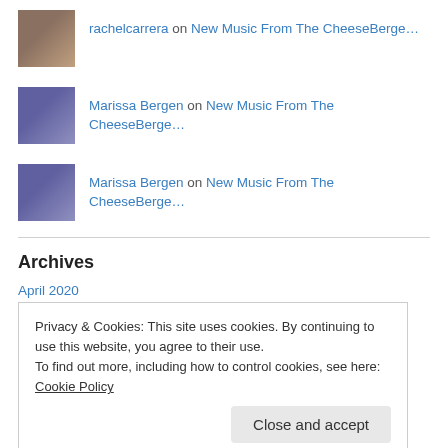rachelcarrera on New Music From The CheeseBerge…
Marissa Bergen on New Music From The CheeseBerge…
Marissa Bergen on New Music From The CheeseBerge…
Archives
April 2020
September 2018
Privacy & Cookies: This site uses cookies. By continuing to use this website, you agree to their use.
To find out more, including how to control cookies, see here: Cookie Policy
Close and accept